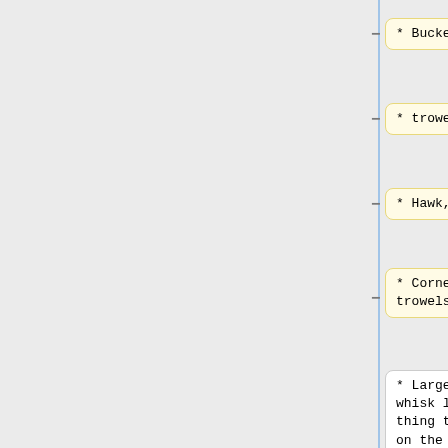* Bucket,
* Bucket
* trowel,
* trowel
* Hawk,
* Hawk
* Corner trowels,
* Corner trowels
* Large whisk like thing to go on the end of the drill!
* Large whisk like thing to go on the end of the drill!
Next, research: find all the descriptions you can of
'''Next, research:''' find all the descriptions you can of